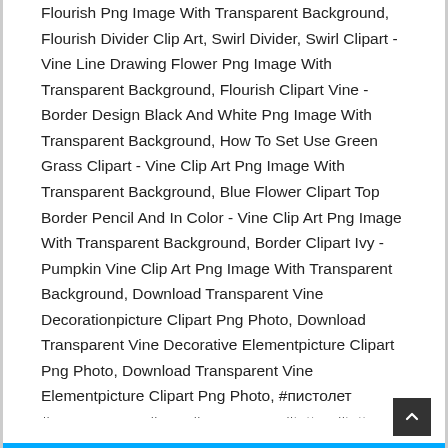Flourish Png Image With Transparent Background, Flourish Divider Clip Art, Swirl Divider, Swirl Clipart - Vine Line Drawing Flower Png Image With Transparent Background, Flourish Clipart Vine - Border Design Black And White Png Image With Transparent Background, How To Set Use Green Grass Clipart - Vine Clip Art Png Image With Transparent Background, Blue Flower Clipart Top Border Pencil And In Color - Vine Clip Art Png Image With Transparent Background, Border Clipart Ivy - Pumpkin Vine Clip Art Png Image With Transparent Background, Download Transparent Vine Decorationpicture Clipart Png Photo, Download Transparent Vine Decorative Elementpicture Clipart Png Photo, Download Transparent Vine Elementpicture Clipart Png Photo, #пистолет #татумашинка #тату #татуировки #tattoo #tattoos - Tattoo Gun Tattoo Png Image With Transparent Background, Victoria's Secret Fragrance Lotion Parfume - Cremes Da Victoria Secret